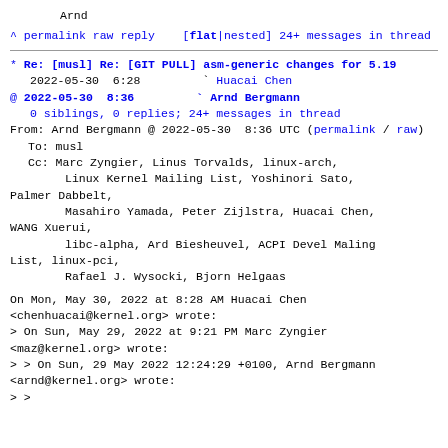Arnd
^ permalink raw reply    [flat|nested] 24+ messages in thread
* Re: [musl] Re: [GIT PULL] asm-generic changes for 5.19
  2022-05-30  6:28        ` Huacai Chen
@ 2022-05-30  8:36        ` Arnd Bergmann
  0 siblings, 0 replies; 24+ messages in thread
From: Arnd Bergmann @ 2022-05-30  8:36 UTC (permalink / raw)
  To: musl
  Cc: Marc Zyngier, Linus Torvalds, linux-arch,
        Linux Kernel Mailing List, Yoshinori Sato, Palmer Dabbelt,
        Masahiro Yamada, Peter Zijlstra, Huacai Chen, WANG Xuerui,
        libc-alpha, Ard Biesheuvel, ACPI Devel Maling List, linux-pci,
        Rafael J. Wysocki, Bjorn Helgaas
On Mon, May 30, 2022 at 8:28 AM Huacai Chen <chenhuacai@kernel.org> wrote:
> On Sun, May 29, 2022 at 9:21 PM Marc Zyngier <maz@kernel.org> wrote:
> > On Sun, 29 May 2022 12:24:29 +0100, Arnd Bergmann <arnd@kernel.org> wrote:
> >